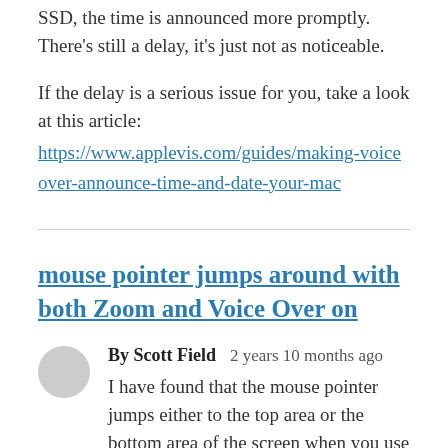SSD, the time is announced more promptly. There's still a delay, it's just not as noticeable.
If the delay is a serious issue for you, take a look at this article:
https://www.applevis.com/guides/making-voiceover-announce-time-and-date-your-mac
mouse pointer jumps around with both Zoom and Voice Over on
By Scott Field   2 years 10 months ago
I have found that the mouse pointer jumps either to the top area or the bottom area of the screen when you use the mouse pointer to navigate the text with voiceover on this. I